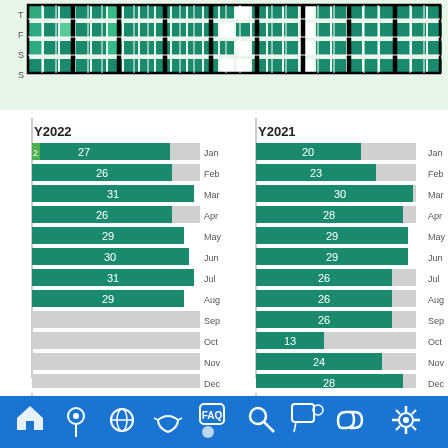[Figure (other): Calendar heatmap grid showing daily activity in green shades with thick black borders grouping weeks. Rows labeled T, F, S, S on the left.]
[Figure (bar-chart): Y2022]
[Figure (bar-chart): Y2021]
[Figure (bar-chart): Y2020]
[Figure (bar-chart): Y2019]
[Figure (infographic): Bottom navigation bar with blue background containing 9 icons: home, location pin, globe, medical mask, FAQ speech bubble, search, chat with person, link/chain, settings gear.]